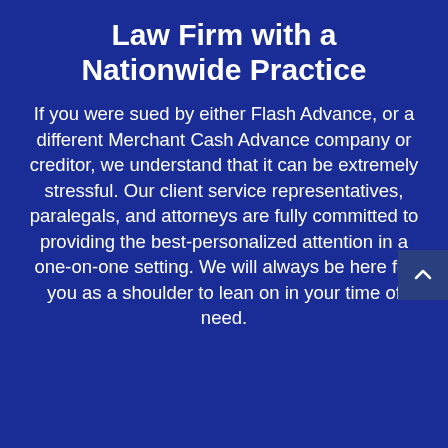Law Firm with a Nationwide Practice
If you were sued by either Flash Advance, or a different Merchant Cash Advance company or creditor, we understand that it can be extremely stressful. Our client service representatives, paralegals, and attorneys are fully committed to providing the best-personalized attention in a one-on-one setting. We will always be here for you as a shoulder to lean on in your time of need.